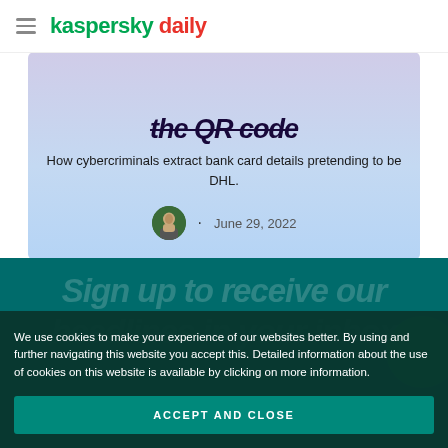kaspersky daily
[Figure (screenshot): Article card with partial title visible 'the QR code' in italic dark text, subtitle 'How cybercriminals extract bank card details pretending to be DHL.', author avatar, and date June 29, 2022, on a blue-purple gradient background]
Sign up to receive our headlines in your inbox
We use cookies to make your experience of our websites better. By using and further navigating this website you accept this. Detailed information about the use of cookies on this website is available by clicking on more information.
ACCEPT AND CLOSE